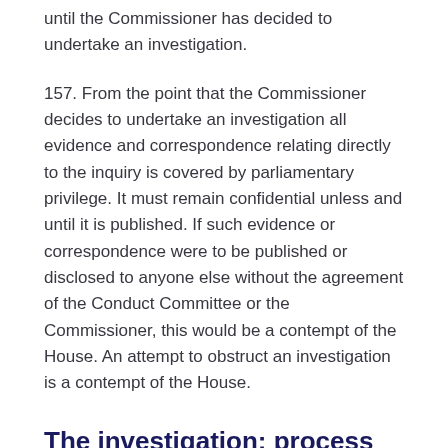until the Commissioner has decided to undertake an investigation.
157. From the point that the Commissioner decides to undertake an investigation all evidence and correspondence relating directly to the inquiry is covered by parliamentary privilege. It must remain confidential unless and until it is published. If such evidence or correspondence were to be published or disclosed to anyone else without the agreement of the Conduct Committee or the Commissioner, this would be a contempt of the House. An attempt to obstruct an investigation is a contempt of the House.
The investigation: process
158. The Commissioner first informs the member...